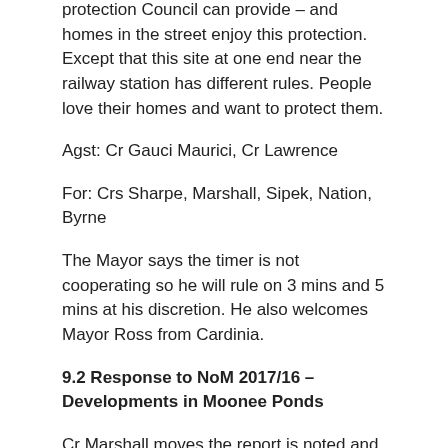protection Council can provide – and homes in the street enjoy this protection. Except that this site at one end near the railway station has different rules. People love their homes and want to protect them.
Agst: Cr Gauci Maurici, Cr Lawrence
For: Crs Sharpe, Marshall, Sipek, Nation, Byrne
The Mayor says the timer is not cooperating so he will rule on 3 mins and 5 mins at his discretion. He also welcomes Mayor Ross from Cardinia.
9.2 Response to NoM 2017/16 – Developments in Moonee Ponds
Cr Marshall moves the report is noted and that a report is brought back setting out a timeframe for the implementation of the measures. Cr Nation seconds.
Cr Marshall says this came out of a Notice of